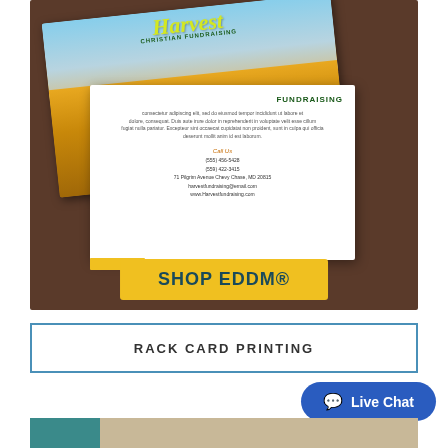[Figure (photo): Photo mockup of Harvest Christian Fundraising EDDM mailer cards on a dark brown wooden surface. Front card shows a golden wheat field with 'Harvest Christian Fundraising' logo and 'LET'S HELP AND GIVE HOPE!' text. Back card shows fundraising contact information. A yellow 'SHOP EDDM®' button overlays the bottom of the image.]
RACK CARD PRINTING
Live Chat